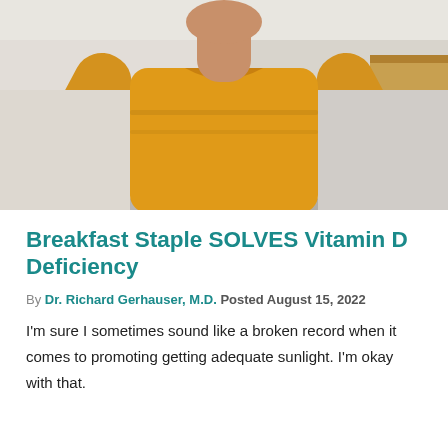[Figure (photo): Person wearing a yellow t-shirt with arms raised in a celebratory pose, photographed from chest up against a light indoor background]
Breakfast Staple SOLVES Vitamin D Deficiency
By Dr. Richard Gerhauser, M.D. Posted August 15, 2022
I'm sure I sometimes sound like a broken record when it comes to promoting getting adequate sunlight. I'm okay with that.